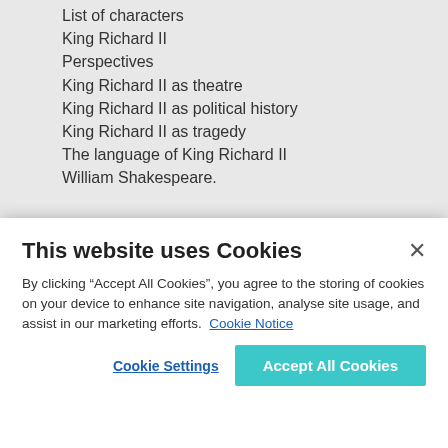List of characters
King Richard II
Perspectives
King Richard II as theatre
King Richard II as political history
King Richard II as tragedy
The language of King Richard II
William Shakespeare.
OTHER TITLES IN THIS SERIES
[Figure (other): Navigation arrows (left and right) for a series carousel, with green square buttons containing white arrow icons]
This website uses Cookies
By clicking “Accept All Cookies”, you agree to the storing of cookies on your device to enhance site navigation, analyse site usage, and assist in our marketing efforts. Cookie Notice
Cookie Settings
Accept All Cookies